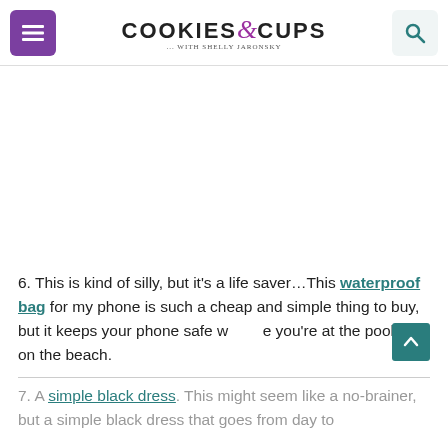Cookies & Cups with Shelly Jaronsky
6. This is kind of silly, but it's a life saver…This waterproof bag for my phone is such a cheap and simple thing to buy, but it keeps your phone safe while you're at the pool or on the beach.
7. A simple black dress. This might seem like a no-brainer, but a simple black dress that goes from day to